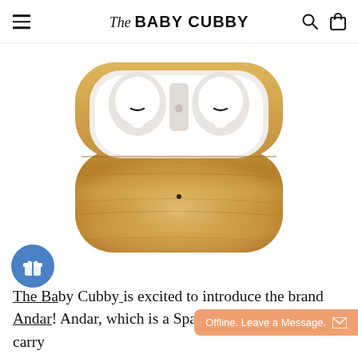The BABY CUBBY
[Figure (photo): AirPods Pro in an open wooden case with a warm honey-toned wood grain exterior and white interior, showing both earbuds seated inside.]
The Baby Cubby is excited to introduce the brand Andar! Andar, which is a Spanish verb meaning "to carry